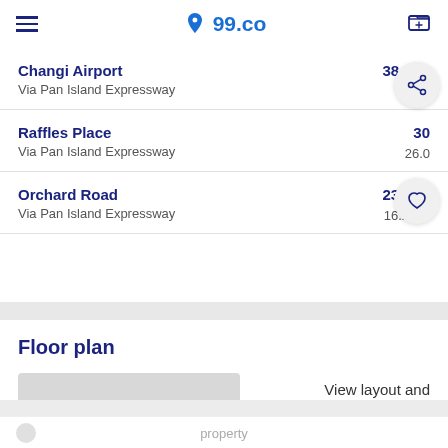99.co
Changi Airport | 38 min | Via Pan Island Expressway | 34. km
Raffles Place | 30 min | Via Pan Island Expressway | 26.0 km
Orchard Road | 23 min | Via Pan Island Expressway | 16.2 km
Floor plan
View layout and
This listing is no longer available
property